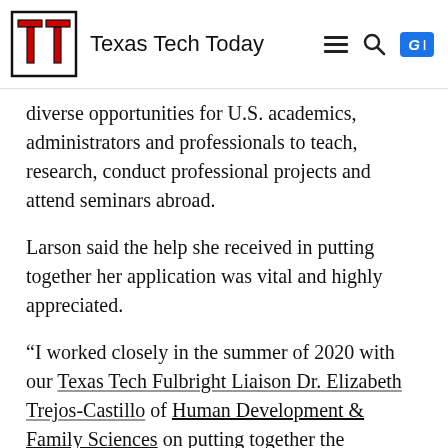Texas Tech Today
diverse opportunities for U.S. academics, administrators and professionals to teach, research, conduct professional projects and attend seminars abroad.
Larson said the help she received in putting together her application was vital and highly appreciated.
“I worked closely in the summer of 2020 with our Texas Tech Fulbright Liaison Dr. Elizabeth Trejos-Castillo of Human Development & Family Sciences on putting together the Fulbright application narrative,” Larson said. “Her support